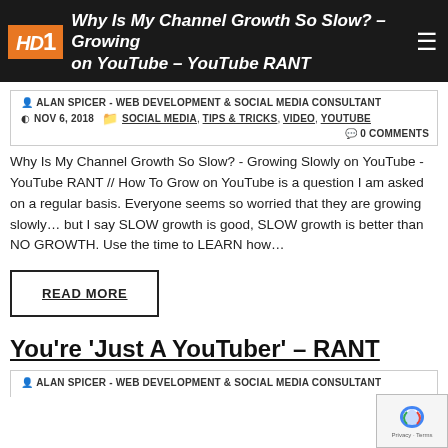Why Is My Channel Growth So Slow? – Growing on YouTube – YouTube RANT
ALAN SPICER - WEB DEVELOPMENT & SOCIAL MEDIA CONSULTANT
NOV 6, 2018   SOCIAL MEDIA, TIPS & TRICKS, VIDEO, YOUTUBE
0 COMMENTS
Why Is My Channel Growth So Slow? - Growing Slowly on YouTube - YouTube RANT // How To Grow on YouTube is a question I am asked on a regular basis. Everyone seems so worried that they are growing slowly… but I say SLOW growth is good, SLOW growth is better than NO GROWTH. Use the time to LEARN how…
READ MORE
You're 'Just A YouTuber' – RANT
ALAN SPICER - WEB DEVELOPMENT & SOCIAL MEDIA CONSULTANT